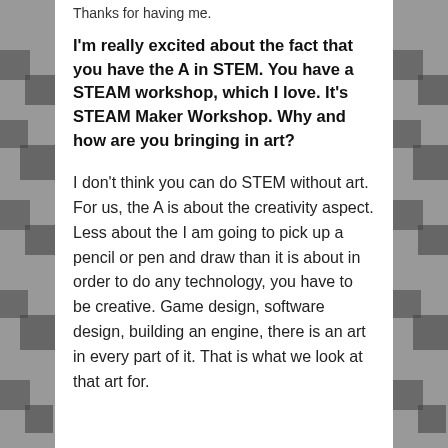Thanks for having me.
I'm really excited about the fact that you have the A in STEM. You have a STEAM workshop, which I love. It's STEAM Maker Workshop. Why and how are you bringing in art?
I don't think you can do STEM without art. For us, the A is about the creativity aspect. Less about the I am going to pick up a pencil or pen and draw than it is about in order to do any technology, you have to be creative. Game design, software design, building an engine, there is an art in every part of it. That is what we look at that art for.